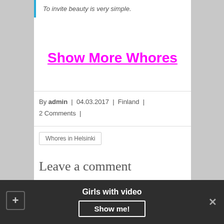To invite beauty is very simple.
Show More Whores
By admin | 04.03.2017 | Finland | 2 Comments |
Whores in Helsinki
Leave a comment
Your email address will not be published. Required
Girls with video
Show me!